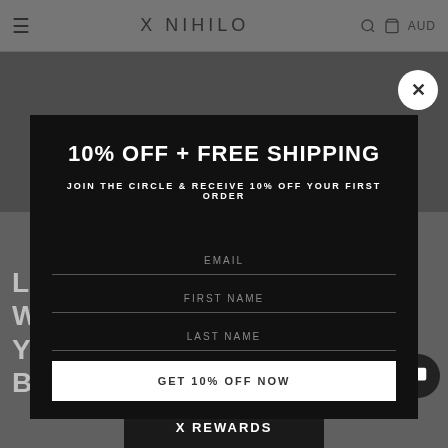X NIHILO — AUD
[Figure (screenshot): Background website screenshot showing a fashion/bag image and bottom text 'LAST BUT NOT LEAST, WHAT YOUR FAV... HILO BAG']
10% OFF + FREE SHIPPING
JOIN THE CIRCLE & RECEIVE 10% OFF YOUR FIRST ORDER
EMAIL
FIRST NAME
LAST NAME
GET 10% OFF NOW
X REWARDS